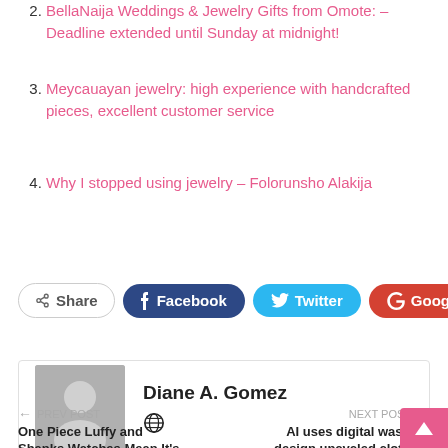2. BellaNaija Weddings & Jewelry Gifts from Omote: – Deadline extended until Sunday at midnight!
3. Meycauayan jewelry: high experience with handcrafted pieces, excellent customer service
4. Why I stopped using jewelry – Folorunsho Alakija
[Figure (other): Social share buttons: Share, Facebook, Twitter, Google+, and a plus button]
[Figure (other): Author box with avatar placeholder and name Diane A. Gomez with globe icon]
PREV POST | One Piece Luffy and Shanks Watches Mean It's
NEXT POST | AI uses digital waste to design uncycled clothing